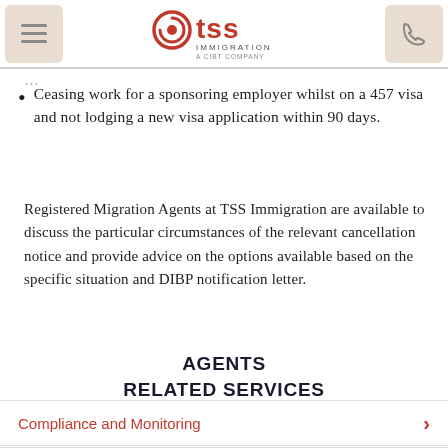TSS Immigration – A CIBT Company
Ceasing work for a sponsoring employer whilst on a 457 visa and not lodging a new visa application within 90 days.
Registered Migration Agents at TSS Immigration are available to discuss the particular circumstances of the relevant cancellation notice and provide advice on the options available based on the specific situation and DIBP notification letter.
AGENTS RELATED SERVICES
Compliance and Monitoring
Visa Appeals